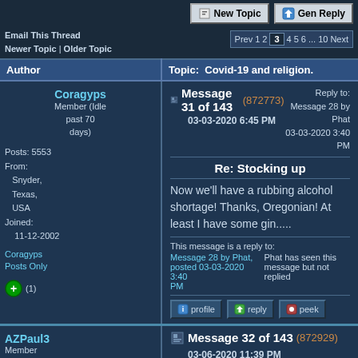New Topic | Gen Reply
Email This Thread
Newer Topic | Older Topic
Prev 1 2 3 4 5 6 ... 10 Next
| Author | Topic: Covid-19 and religion. |
| --- | --- |
| Coragyps
Member (Idle past 70 days)
Posts: 5553
From: Snyder, Texas, USA
Joined: 11-12-2002
Coragyps Posts Only
(1) | Message 31 of 143 (872773)
03-03-2020 6:45 PM
Reply to: Message 28 by Phat
03-03-2020 3:40 PM

Re: Stocking up

Now we’ll have a rubbing alcohol shortage! Thanks, Oregonian! At least I have some gin.....

This message is a reply to:
Message 28 by Phat, posted 03-03-2020 3:40 PM
Phat has seen this message but not replied |
| AZPaul3
Member | Message 32 of 143 (872929)
03-06-2020 11:39 PM

Hand Sanitizers |